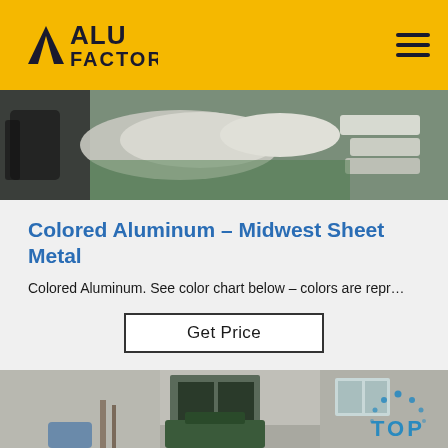ALU FACTORY
[Figure (photo): Photo of fabric/material items stacked on a surface, partial view, industrial setting]
Colored Aluminum – Midwest Sheet Metal
Colored Aluminum. See color chart below – colors are repr…
Get Price
[Figure (photo): Interior of an industrial factory/workshop with machinery and equipment, with a blue TOP badge overlay in the bottom right]